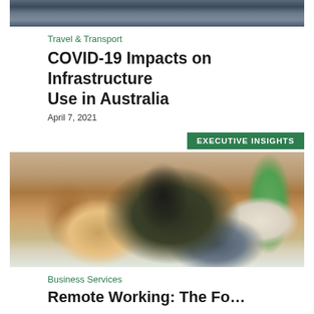[Figure (photo): Aerial or landscape photo at top of page, dark tones]
Travel & Transport
COVID-19 Impacts on Infrastructure Use in Australia
April 7, 2021
[Figure (photo): Executive Insights card: Man with beard sitting in chair with laptop, talking on phone, home office background with books and plant. Label 'EXECUTIVE INSIGHTS' in green banner top right.]
Business Services
Remote Working: The Fo...